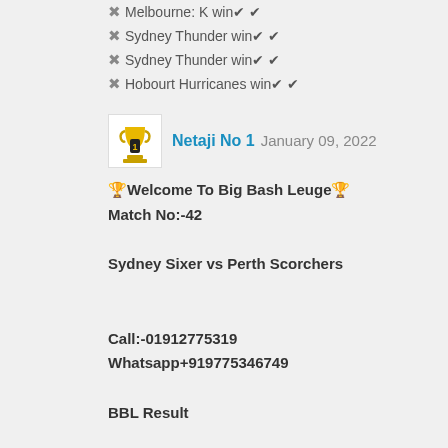✖ Melbourne: K win✔ ✔
✖ Sydney Thunder win✔ ✔
✖ Sydney Thunder win✔ ✔
✖ Hobourt Hurricanes win✔ ✔
Netaji No 1  January 09, 2022
🏆Welcome To Big Bash Leuge🏆
Match No:-42

Sydney Sixer vs Perth Scorchers


Call:-01912775319
Whatsapp+919775346749

BBL Result

(1)-Sydney Sixer Win Pass🎉
(2)-Sydney Thunder Win Pass🎉
(3)-Melbourne Renegades Win Pass🎉
(4)-Sydney Sixer Win Pass🎉
(5)-Perth Scorchers Win Pass🎉